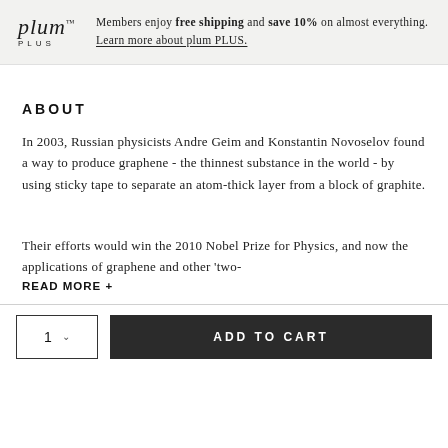Members enjoy free shipping and save 10% on almost everything. Learn more about plum PLUS.
ABOUT
In 2003, Russian physicists Andre Geim and Konstantin Novoselov found a way to produce graphene - the thinnest substance in the world - by using sticky tape to separate an atom-thick layer from a block of graphite.
Their efforts would win the 2010 Nobel Prize for Physics, and now the applications of graphene and other 'two-
READ MORE +